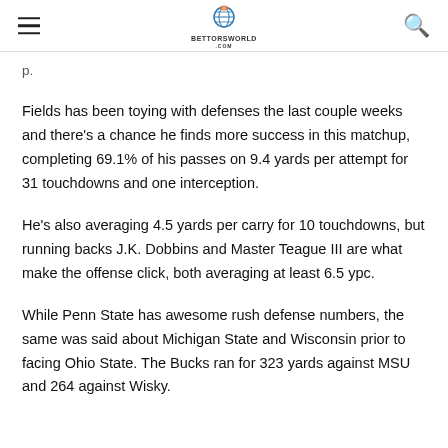BettorsWorld
Fields has been toying with defenses the last couple weeks and there's a chance he finds more success in this matchup, completing 69.1% of his passes on 9.4 yards per attempt for 31 touchdowns and one interception.
He's also averaging 4.5 yards per carry for 10 touchdowns, but running backs J.K. Dobbins and Master Teague III are what make the offense click, both averaging at least 6.5 ypc.
While Penn State has awesome rush defense numbers, the same was said about Michigan State and Wisconsin prior to facing Ohio State. The Bucks ran for 323 yards against MSU and 264 against Wisky.